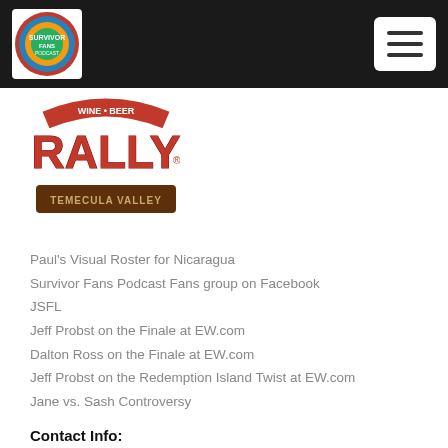[Figure (logo): Survivor Fans Podcast circular logo with colorful design on dark header bar]
[Figure (logo): Rally Temecula Valley logo in red and brown lettering]
Paul's Visual Roster for Nicaragua
Survivor Fans Podcast Fans group on Facebook
JSFL
Jeff Probst on the Finale at EW.com
Dalton Ross on the Finale at EW.com
Jeff Probst on the Redemption Island Twist at EW.com
Jane vs. Sash Controversy
Contact Info:
Voicemail: 206-350-1547
Email: joannandstacyshow@gmail.com
Survivor Fans Podcast
P.O. Box 2811
Orangevale, CA 95662